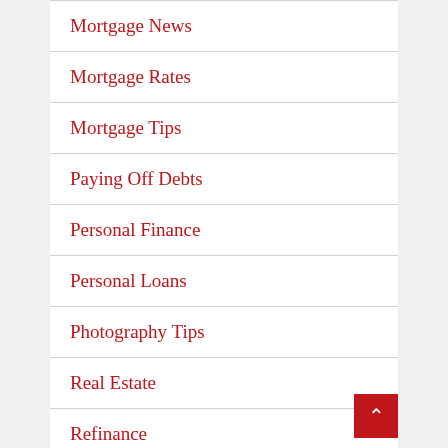Mortgage News
Mortgage Rates
Mortgage Tips
Paying Off Debts
Personal Finance
Personal Loans
Photography Tips
Real Estate
Refinance